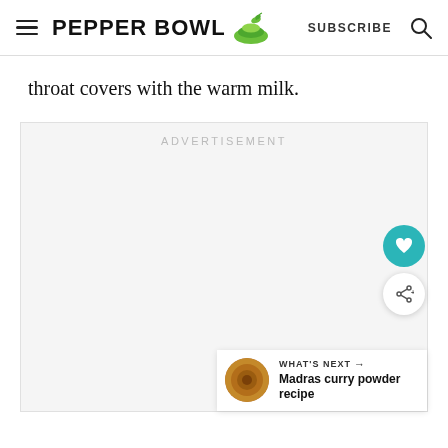PEPPER BOWL | SUBSCRIBE
throat covers with the warm milk.
[Figure (other): Advertisement placeholder area with light gray background and 'ADVERTISEMENT' label]
WHAT'S NEXT → Madras curry powder recipe